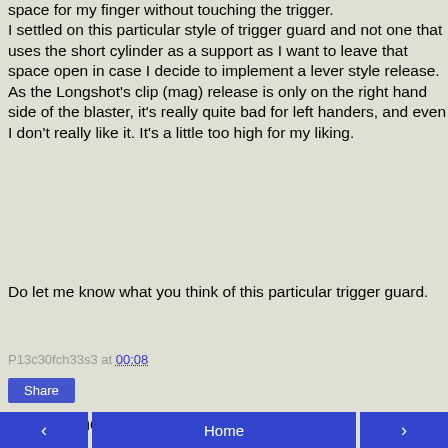space for my finger without touching the trigger. I settled on this particular style of trigger guard and not one that uses the short cylinder as a support as I want to leave that space open in case I decide to implement a lever style release. As the Longshot's clip (mag) release is only on the right hand side of the blaster, it's really quite bad for left handers, and even I don't really like it. It's a little too high for my liking.
Do let me know what you think of this particular trigger guard.
P13c30fch33s3 at 00:08
Share
No comments:
Post a Comment
< Home >